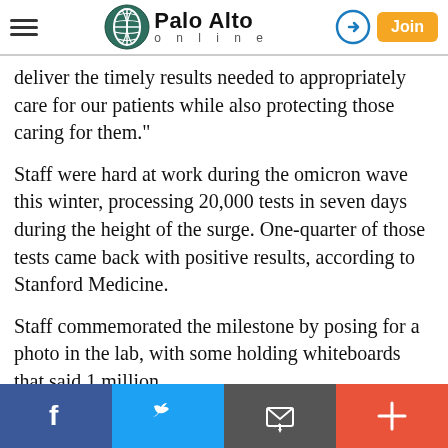Palo Alto online
deliver the timely results needed to appropriately care for our patients while also protecting those caring for them."
Staff were hard at work during the omicron wave this winter, processing 20,000 tests in seven days during the height of the surge. One-quarter of those tests came back with positive results, according to Stanford Medicine.
Staff commemorated the milestone by posing for a photo in the lab, with some holding whiteboards that said 1 million.
A WELL-DESERVED RETIREMENT   After a